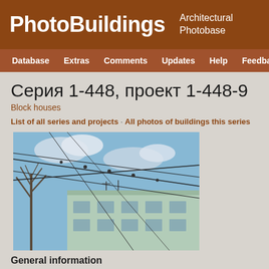PhotoBuildings · Architectural Photobase
Серия 1-448, проект 1-448-9
Block houses
List of all series and projects · All photos of buildings this series
[Figure (photo): Photograph of a Soviet-era block house building, light green/mint colored, with overhead electrical/trolleybus wires crossing the sky in the foreground. Blue sky with white clouds visible above and around the building. Bare tree on the left side.]
General information